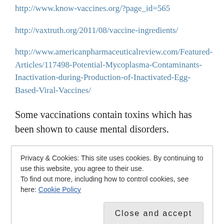http://www.know-vaccines.org/?page_id=565
http://vaxtruth.org/2011/08/vaccine-ingredients/
http://www.americanpharmaceuticalreview.com/Featured-Articles/117498-Potential-Mycoplasma-Contaminants-Inactivation-during-Production-of-Inactivated-Egg-Based-Viral-Vaccines/
Some vaccinations contain toxins which has been shown to cause mental disorders.
Privacy & Cookies: This site uses cookies. By continuing to use this website, you agree to their use.
To find out more, including how to control cookies, see here: Cookie Policy
Close and accept
problems.